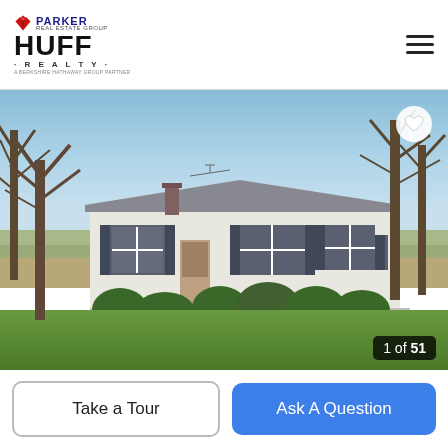Parker Real Estate Group / Huff Realty
[Figure (photo): Exterior photo of a white single-story ranch house with dark shutters, surrounded by trimmed shrubs and bare trees on a grassy lot under a clear blue sky. Photo counter shows 1 of 51.]
Take a Tour
Ask A Question